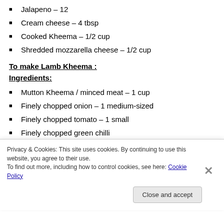Jalapeno – 12
Cream cheese – 4 tbsp
Cooked Kheema – 1/2 cup
Shredded mozzarella cheese – 1/2 cup
To make Lamb Kheema :
Ingredients:
Mutton Kheema / minced meat – 1 cup
Finely chopped onion – 1 medium-sized
Finely chopped tomato – 1 small
Privacy & Cookies: This site uses cookies. By continuing to use this website, you agree to their use.
To find out more, including how to control cookies, see here: Cookie Policy